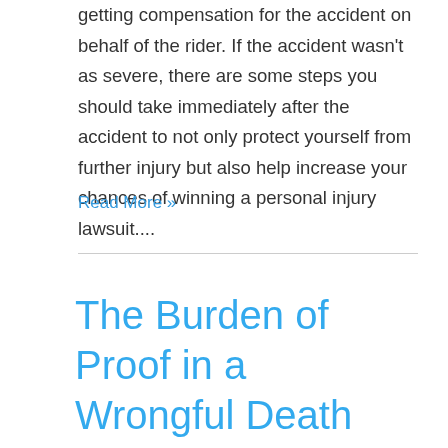getting compensation for the accident on behalf of the rider. If the accident wasn't as severe, there are some steps you should take immediately after the accident to not only protect yourself from further injury but also help increase your chances of winning a personal injury lawsuit....
Read More »
The Burden of Proof in a Wrongful Death